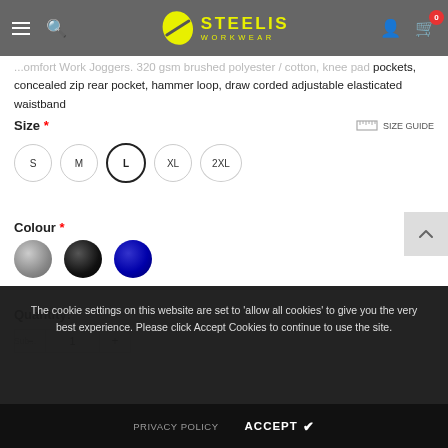Steelis Workwear — website header with navigation icons and logo
...comfort Work Joggers. 320 gsm brushed polyester / cotton, knee pad pockets, concealed zip rear pocket, hammer loop, draw corded adjustable elasticated waistband
Size * SIZE GUIDE
S   M   L   XL   2XL
Colour *
[Figure (other): Three circular colour swatches: grey, black, and navy blue]
Quantity:
The cookie settings on this website are set to 'allow all cookies' to give you the very best experience. Please click Accept Cookies to continue to use the site.
PRIVACY POLICY   ACCEPT ✔